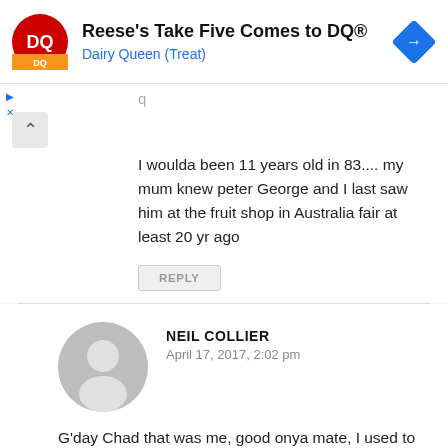[Figure (screenshot): Dairy Queen advertisement banner with DQ logo and blue navigation arrow icon. Text: Reese's Take Five Comes to DQ® / Dairy Queen (Treat)]
I woulda been 11 years old in 83.... my mum knew peter George and I last saw him at the fruit shop in Australia fair at least 20 yr ago
REPLY
NEIL COLLIER
April 17, 2017, 2:02 pm
G'day Chad that was me, good onya mate, I used to see peter a bit up until last year but i live in Nth Qld these